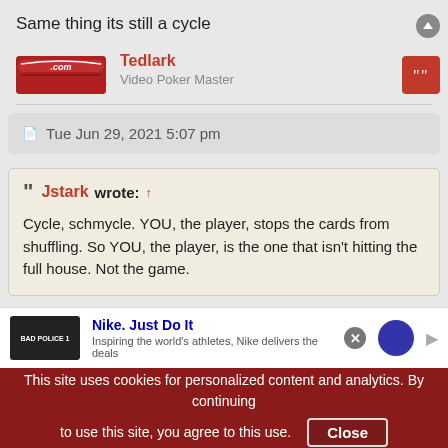Same thing its still a cycle
Tedlark
Video Poker Master
Tue Jun 29, 2021 5:07 pm
Jstark wrote: ↑
Cycle, schmycle. YOU, the player, stops the cards from shuffling. So YOU, the player, is the one that isn't hitting the full house. Not the game.
Nike. Just Do It
Inspiring the world's athletes, Nike delivers the deals
This site uses cookies for personalized content and analytics. By continuing to use this site, you agree to this use. Close